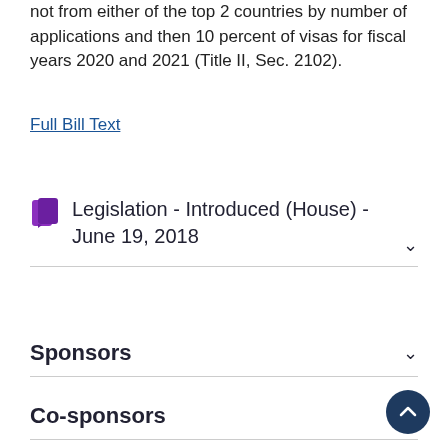not from either of the top 2 countries by number of applications and then 10 percent of visas for fiscal years 2020 and 2021 (Title II, Sec. 2102).
Full Bill Text
Legislation - Introduced (House) - June 19, 2018
Sponsors
Co-sponsors